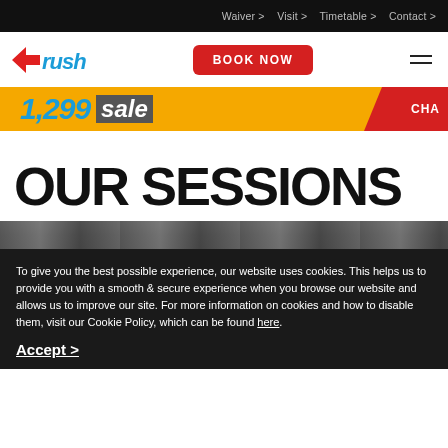Waiver >   Visit >   Timetable >   Contact >
[Figure (logo): Rush trampoline park logo with red wing icon and blue italic text]
BOOK NOW
[Figure (screenshot): Promotional banner with orange background showing large text sale/offer, with red diagonal section on right showing 'CHA...']
OUR SESSIONS
[Figure (photo): Partial image strip showing trampoline/activity scene]
To give you the best possible experience, our website uses cookies. This helps us to provide you with a smooth & secure experience when you browse our website and allows us to improve our site. For more information on cookies and how to disable them, visit our Cookie Policy, which can be found here.
Accept >